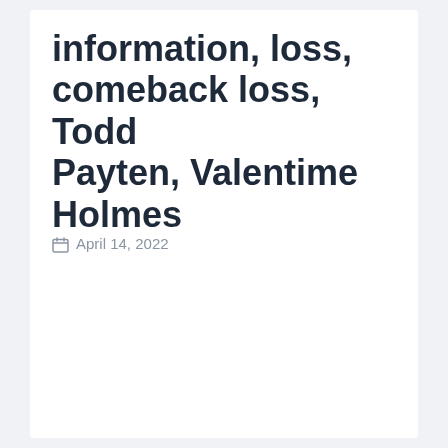information, loss, comeback loss, Todd Payten, Valentime Holmes
April 14, 2022